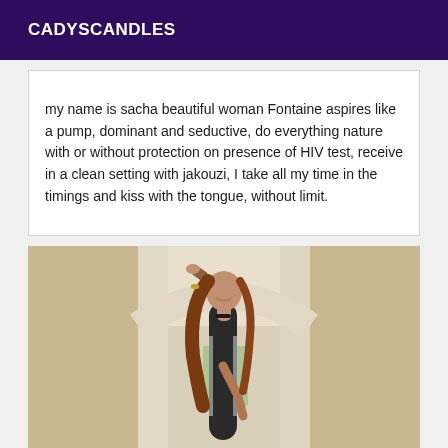CADYSCANDLES
my name is sacha beautiful woman Fontaine aspires like a pump, dominant and seductive, do everything nature with or without protection on presence of HIV test, receive in a clean setting with jakouzi, I take all my time in the timings and kiss with the tongue, without limit.
[Figure (photo): A woman with long auburn hair wearing a black striped dress, leaning against a white architectural column/doorframe in a bright interior space.]